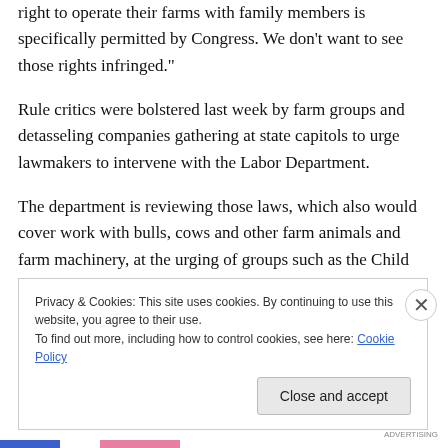right to operate their farms with family members is specifically permitted by Congress. We don't want to see those rights infringed."
Rule critics were bolstered last week by farm groups and detasseling companies gathering at state capitols to urge lawmakers to intervene with the Labor Department.
The department is reviewing those laws, which also would cover work with bulls, cows and other farm animals and farm machinery, at the urging of groups such as the Child Labor Coalition and the National Safety Council.
Privacy & Cookies: This site uses cookies. By continuing to use this website, you agree to their use.
To find out more, including how to control cookies, see here: Cookie Policy